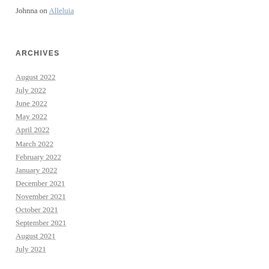Johnna on Alleluia
ARCHIVES
August 2022
July 2022
June 2022
May 2022
April 2022
March 2022
February 2022
January 2022
December 2021
November 2021
October 2021
September 2021
August 2021
July 2021